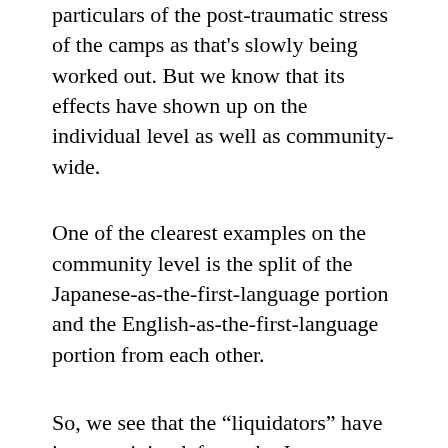particulars of the post-traumatic stress of the camps as that's slowly being worked out. But we know that its effects have shown up on the individual level as well as community-wide.
One of the clearest examples on the community level is the split of the Japanese-as-the-first-language portion and the English-as-the-first-language portion from each other.
So, we see that the “liquidators” have in my opinion left out the Japanese language/cultural ramifications in their calculations. It seems they have forgotten